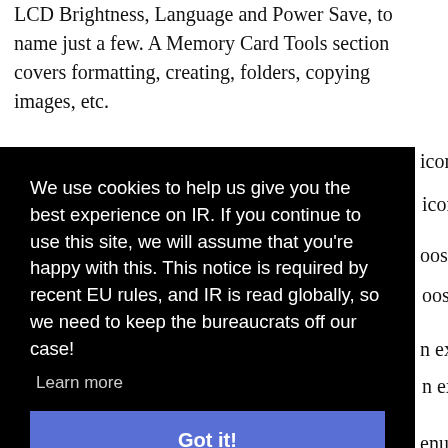LCD Brightness, Language and Power Save, to name just a few. A Memory Card Tools section covers formatting, creating, folders, copying images, etc.
Perhaps the most frustrating aspect of the menu system is trying to set up to shoot movies. The menus are scattered so
[Figure (screenshot): Cookie consent overlay with black background. Text reads: 'We use cookies to help us give you the best experience on IR. If you continue to use this site, we will assume that you're happy with this. This notice is required by recent EU rules, and IR is read globally, so we need to keep the bureaucrats off our case!' with a 'Learn more' link and a blue 'Got it!' button.]
icon on oose n extra enu, alance ngs ing to n the he